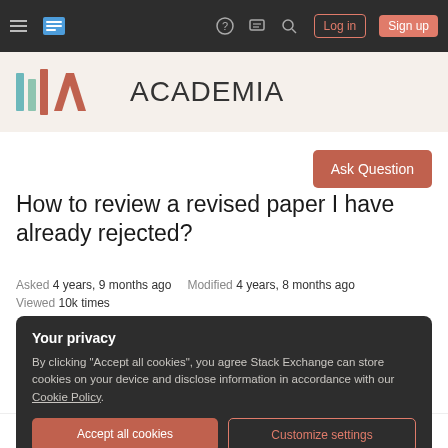Navigation bar with hamburger menu, Stack Exchange logo, question mark, chat, search icons, Log in and Sign up buttons
[Figure (logo): Academia Stack Exchange logo with colored vertical bars and ACADEMIA text]
Ask Question
How to review a revised paper I have already rejected?
Asked 4 years, 9 months ago   Modified 4 years, 8 months ago
Viewed 10k times
Your privacy
By clicking "Accept all cookies", you agree Stack Exchange can store cookies on your device and disclose information in accordance with our Cookie Policy.
Accept all cookies   Customize settings
Now to review the revised version from my Ta...